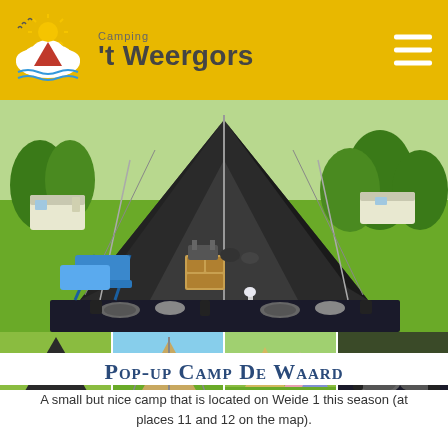Camping 't Weergors
[Figure (photo): Large black glamping tent set up on green grass at a campsite with caravans in background, camping chairs and a table set for a meal in foreground]
[Figure (photo): Four thumbnail photos of various camping tents and glamping setups at the campsite]
Pop-up Camp De Waard
A small but nice camp that is located on Weide 1 this season (at places 11 and 12 on the map).